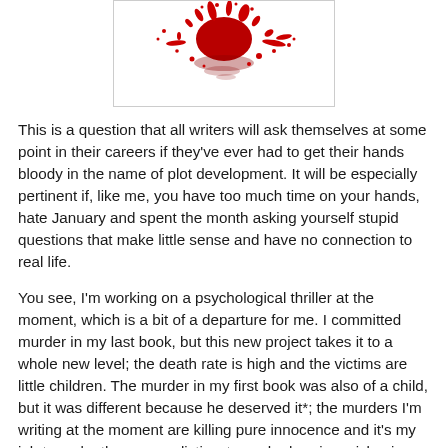[Figure (illustration): Red blood splatter on white background, centered at top of page inside a bordered rectangle]
This is a question that all writers will ask themselves at some point in their careers if they've ever had to get their hands bloody in the name of plot development. It will be especially pertinent if, like me, you have too much time on your hands, hate January and spent the month asking yourself stupid questions that make little sense and have no connection to real life.
You see, I'm working on a psychological thriller at the moment, which is a bit of a departure for me. I committed murder in my last book, but this new project takes it to a whole new level; the death rate is high and the victims are little children. The murder in my first book was also of a child, but it was different because he deserved it*; the murders I'm writing at the moment are killing pure innocence and it's my job to make them as realistic, stomach-churning, sickening and shocking as possible, so that by the time you've reached the end of the chapter you really will want to call the police and report the atrocity. So, does this make me